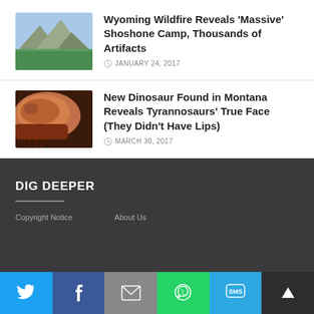[Figure (photo): Mountain landscape with rocky peaks and green meadow]
Wyoming Wildfire Reveals ‘Massive’ Shoshone Camp, Thousands of Artifacts
JANUARY 24, 2017
[Figure (photo): Illustration of a tyrannosaur head with no lips, showing teeth]
New Dinosaur Found in Montana Reveals Tyrannosaurs’ True Face (They Didn’t Have Lips)
MARCH 30, 2017
DIG DEEPER
Copyright Notice
About Us